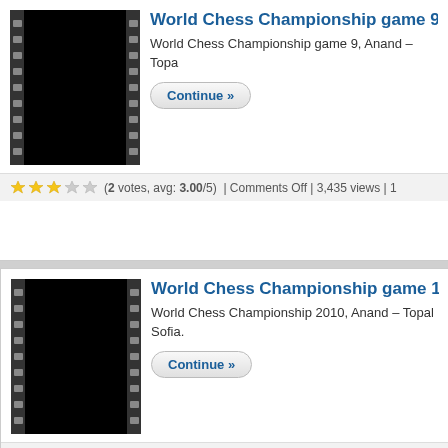[Figure (screenshot): Video thumbnail with film strip border, black content - World Chess Championship game 9]
World Chess Championship game 9
World Chess Championship game 9, Anand – Topa
Continue »
(2 votes, avg: 3.00/5) | Comments Off | 3,435 views | 1
[Figure (screenshot): Video thumbnail with film strip border, black content - World Chess Championship game 1]
World Chess Championship game 1
World Chess Championship 2010, Anand – Topal Sofia.
Continue »
(No Ratings Yet) | Comments Off | 3,661 views | 16 May 2011
[Figure (screenshot): Video thumbnail with film strip border, black content - World Chess Championship game 1]
World Chess Championship game 1
Game 11 of the World Chess Championship mate Topalov.
Continue »